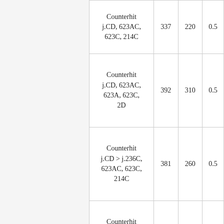| Description | Col1 | Col2 | Col3 |
| --- | --- | --- | --- |
| Counterhit j.CD, 623AC, 623C, 214C | 337 | 220 | 0.5 |
| Counterhit j.CD, 623AC, 623A, 623C, 2D | 392 | 310 | 0.5 |
| Counterhit j.CD > j.236C, 623AC, 623C, 214C | 381 | 260 | 0.5 |
| Counterhit j.CD > j.236C, 623AC, 623A, 623C, 2D | 432 | 350 | 0.5 |
| CR > j.236C... |  |  |  |